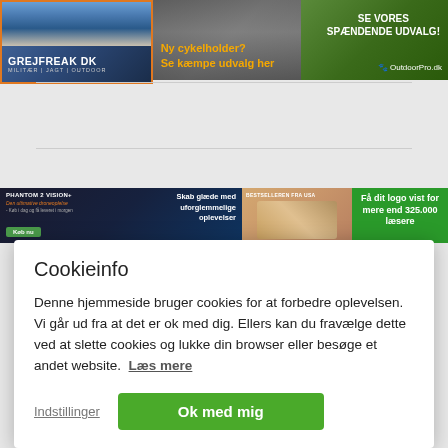[Figure (screenshot): Three advertisement banners in a row: Grejfreak DK outdoor gear ad with mountain background and orange border, a yellow-text cycling holder ad, and an OutdoorPro.dk green nature ad]
[Figure (screenshot): Four advertisement banners: Phantom 2 Vision+ drone ad, a watch bestseller from USA ad, and a green ad offering logo placement for 325,000 readers]
Cookieinfo
Denne hjemmeside bruger cookies for at forbedre oplevelsen. Vi går ud fra at det er ok med dig. Ellers kan du fravælge dette ved at slette cookies og lukke din browser eller besøge et andet website.  Læs mere
Indstillinger
Ok med mig